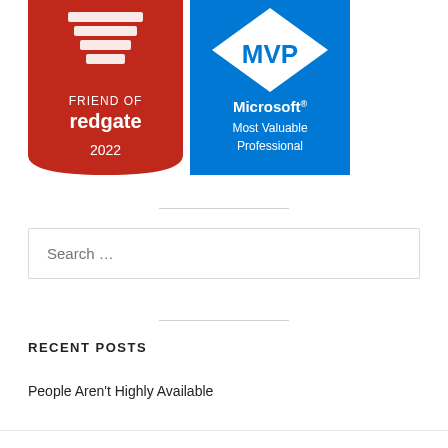[Figure (logo): Two badges side by side: Left is 'Friend of Redgate 2022' on a red background with white text and a Redgate logo. Right is 'Microsoft Most Valuable Professional' (MVP) badge on a blue background with white diamond MVP logo and text.]
Search …
RECENT POSTS
People Aren't Highly Available